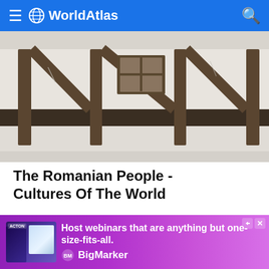WorldAtlas
[Figure (photo): Exterior of a traditional Romanian building with white plastered walls, dark wooden beam framework, and a small window visible]
The Romanian People - Cultures Of The World
[Figure (illustration): Anime-style illustration featuring fantasy characters including a young woman, a violinist, and other figures in a mystical dark environment with glowing lights]
[Figure (photo): Advertisement banner: Host webinars that are anything but one-size-fits-all. BigMarker]